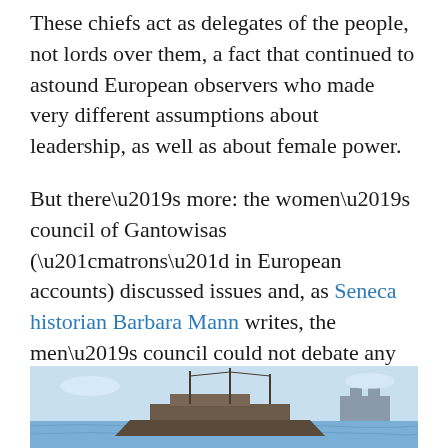These chiefs act as delegates of the people, not lords over them, a fact that continued to astound European observers who made very different assumptions about leadership, as well as about female power.
But there’s more: the women’s council of Gantowisas (“matrons” in European accounts) discussed issues and, as Seneca historian Barbara Mann writes, the men’s council could not debate any issue until the women’s council forwarded it over to them. They had a structural balance between male and female sovereignty. Mann also calls the women elders the “federal reserve board” of the Six Nations, referring to their control of economic resources.
[Figure (photo): Historical image, appears to be a ship or fort scene with water and structures visible, partially shown at bottom of page]